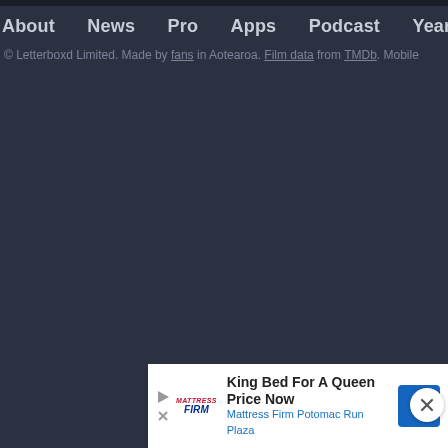About  News  Pro  Apps  Podcast  Year in Review  Gif
© Letterboxd Limited. Made by fans in Aotearoa. Film data from TMDb. Mobile
[Figure (infographic): Advertisement banner: King Bed For A Queen Price Now - Mattress Firm Potomac Run Plaza, with navigation arrow icon and close button]